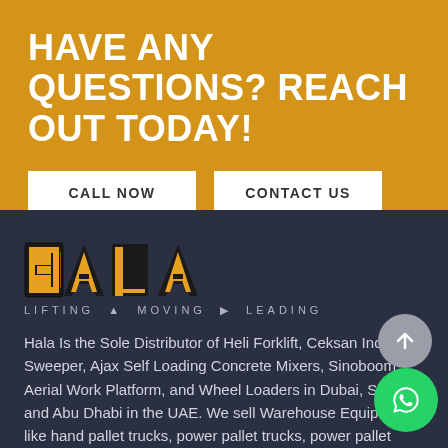HAVE ANY QUESTIONS? REACH OUT TODAY!
CALL NOW
CONTACT US
[Figure (logo): HALA logo in yellow with black outline letters, tagline: LIFTING • MOVING • LEADING]
Hala Is the Sole Distributor of Heli Forklift, Ceksan Industrial Sweeper, Ajax Self Loading Concrete Mixers, Sinoboom Aerial Work Platform, and Wheel Loaders in Dubai, Sharjah and Abu Dhabi in the UAE. We sell Warehouse Equipment like hand pallet trucks, power pallet trucks, power pallet